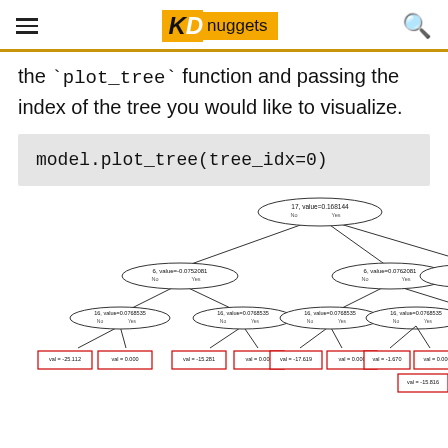KD nuggets
the `plot_tree` function and passing the index of the tree you would like to visualize.
model.plot_tree(tree_idx=0)
[Figure (flowchart): A decision tree diagram showing nodes with values. Root node: 17, value=0.168144. Second level: 6, value=-0.0752081 (left) and 6, value=0.0762081 (right). Third level: four nodes each labeled 16, value=0.0768535. Leaf nodes at bottom show values: val=-25.112, val=0.000, val=-15.281, val=0.000, val=-17.619, val=0.000, val=-1.670, val=0.000, val=-15.816, and more cut off.]